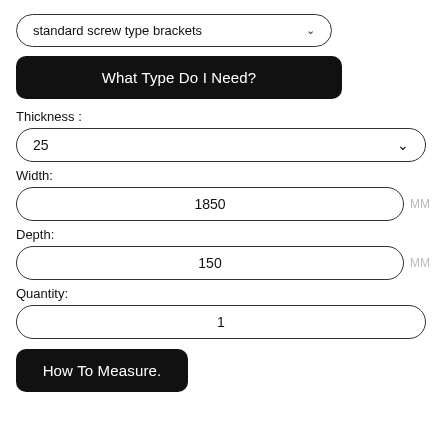standard screw type brackets
What Type Do I Need?
Thickness :
25
Width:
1850 MM
Depth:
150 MM
Quantity:
1
How To Measure.